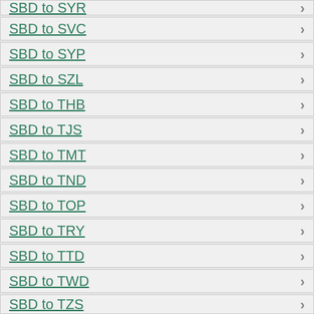SBD to SYR
SBD to SVC
SBD to SYP
SBD to SZL
SBD to THB
SBD to TJS
SBD to TMT
SBD to TND
SBD to TOP
SBD to TRY
SBD to TTD
SBD to TWD
SBD to TZS